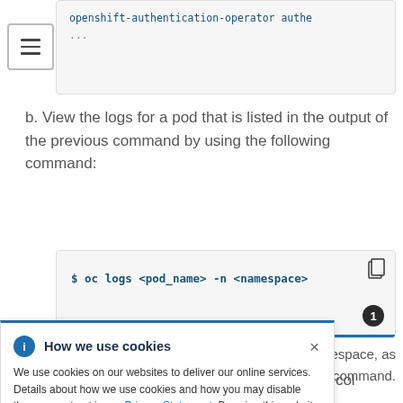[Figure (screenshot): Code block showing 'openshift-authentication-operator authe' and '...' on gray background]
[Figure (screenshot): Hamburger menu icon (three horizontal lines) in a bordered box]
b. View the logs for a pod that is listed in the output of the previous command by using the following command:
[Figure (screenshot): Code block showing: $ oc logs <pod_name> -n <namespace> with a numbered badge (1) and copy button]
[Figure (screenshot): Cookie consent banner: 'How we use cookies' with info icon and close button. Text: We use cookies on our websites to deliver our online services. Details about how we use cookies and how you may disable them are set out in our Privacy Statement. By using this website you agree to our use of cookies.]
...espace, as ...ious command.
...ernetes API ...he cluster
3. For an installation with Fibre Channel Protocol (FCP), additional steps are required to enable